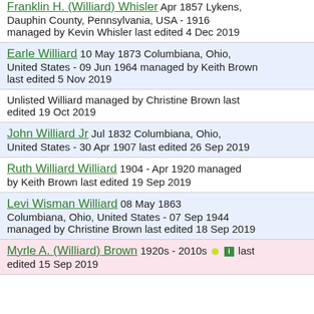Franklin H. (Williard) Whisler Apr 1857 Lykens, Dauphin County, Pennsylvania, USA - 1916 managed by Kevin Whisler last edited 4 Dec 2019
Earle Williard 10 May 1873 Columbiana, Ohio, United States - 09 Jun 1964 managed by Keith Brown last edited 5 Nov 2019
Unlisted Williard managed by Christine Brown last edited 19 Oct 2019
John Williard Jr Jul 1832 Columbiana, Ohio, United States - 30 Apr 1907 last edited 26 Sep 2019
Ruth Williard Williard 1904 - Apr 1920 managed by Keith Brown last edited 19 Sep 2019
Levi Wisman Williard 08 May 1863 Columbiana, Ohio, United States - 07 Sep 1944 managed by Christine Brown last edited 18 Sep 2019
Myrle A. (Williard) Brown 1920s - 2010s last edited 15 Sep 2019